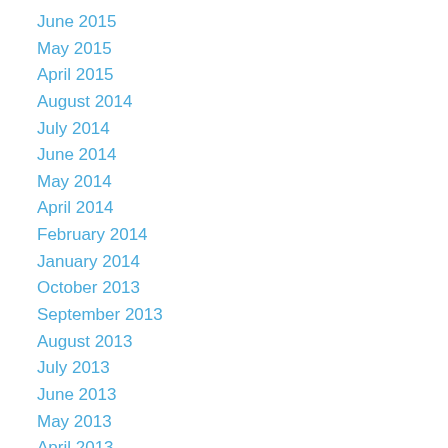June 2015
May 2015
April 2015
August 2014
July 2014
June 2014
May 2014
April 2014
February 2014
January 2014
October 2013
September 2013
August 2013
July 2013
June 2013
May 2013
April 2013
March 2013
February 2013
January 2013